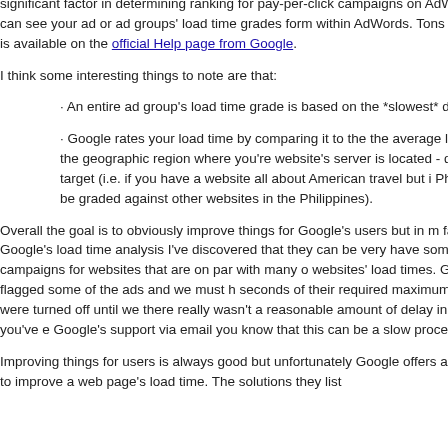significant factor in determining ranking for pay-per-click campaigns on AdWords. You can see your ad or ad groups' load time grades form within AdWords. Tons of more info is available on the official Help page from Google.
I think some interesting things to note are that:
· An entire ad group's load time grade is based on the *slowest* des ad group.
· Google rates your load time by comparing it to the the average loa pages in the geographic region where you're website's server is located - domain or target (i.e. if you have a website all about American travel but i Philippines, it'll be graded against other websites in the Philippines).
Overall the goal is to obviously improve things for Google's users but in m far with Google's load time analysis I've discovered that they can be very have some AdWords campaigns for websites that are on par with many o websites' load times. Google still flagged some of the ads and we must h seconds of their required maximum but our adds were turned off until we there really wasn't a reasonable amount of delay in load time. If you've e Google's support via email you know that this can be a slow process.
Improving things for users is always good but unfortunately Google offers advice on how to improve a web page's load time. The solutions they list